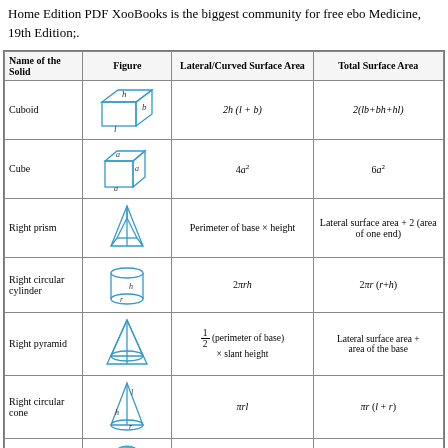Home Edition PDF XooBooks is the biggest community for free ebo Medicine, 19th Edition;.
| Name of the Solid | Figure | Lateral/Curved Surface Area | Total Surface Area |
| --- | --- | --- | --- |
| Cuboid | [figure] | 2h (l + b) | 2(lb+bh+hl) |
| Cube | [figure] | 4a² | 6a² |
| Right prism | [figure] | Perimeter of base × height | Lateral surface area + 2 (area of one end) |
| Right circular cylinder | [figure] | 2πrh | 2πr (r+h) |
| Right pyramid | [figure] | 1/2 (perimeter of base) × slant height | Lateral surface area + area of the base |
| Right circular cone | [figure] | πrl | πr (l + r) |
| Sphere | [figure] | 4πr² | 4πr² |